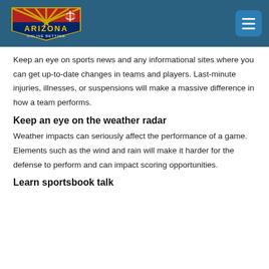Arizona Online Betting
Keep an eye on sports news and any informational sites where you can get up-to-date changes in teams and players. Last-minute injuries, illnesses, or suspensions will make a massive difference in how a team performs.
Keep an eye on the weather radar
Weather impacts can seriously affect the performance of a game. Elements such as the wind and rain will make it harder for the defense to perform and can impact scoring opportunities.
Learn sportsbook talk